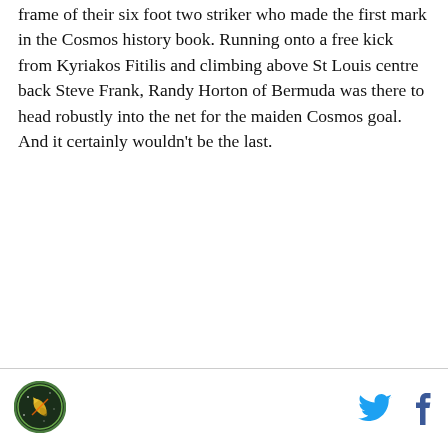frame of their six foot two striker who made the first mark in the Cosmos history book. Running onto a free kick from Kyriakos Fitilis and climbing above St Louis centre back Steve Frank, Randy Horton of Bermuda was there to head robustly into the net for the maiden Cosmos goal. And it certainly wouldn't be the last.
[Figure (logo): Circular logo with dark green border and yellow/gold rocket or comet icon in center on dark background]
[Figure (logo): Twitter bird icon in cyan/blue]
[Figure (logo): Facebook 'f' icon in dark blue]